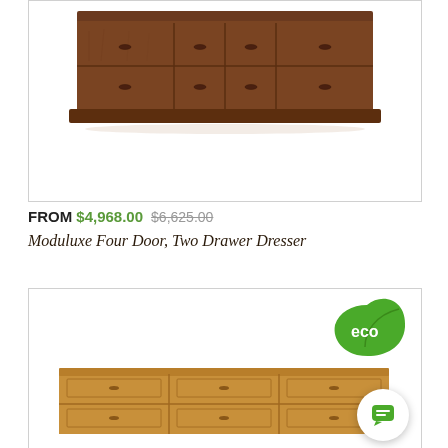[Figure (photo): Top portion of a dark walnut wood four-door two-drawer dresser on white background]
FROM $4,968.00  $6,625.00
Moduluxe Four Door, Two Drawer Dresser
[Figure (photo): Second product listing showing a lighter wood dresser with eco badge and chat button overlay]